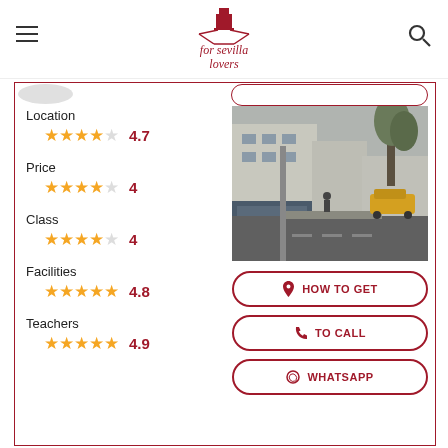for sevilla lovers - navigation header with hamburger menu and search icon
[Figure (screenshot): Partial circular element top left and rounded button top right (partially visible)]
Location
4.7
Price
4
Class
4
Facilities
4.8
Teachers
4.9
[Figure (photo): Street view photo of a building facade with road, trees, and a yellow car]
HOW TO GET
TO CALL
WHATSAPP